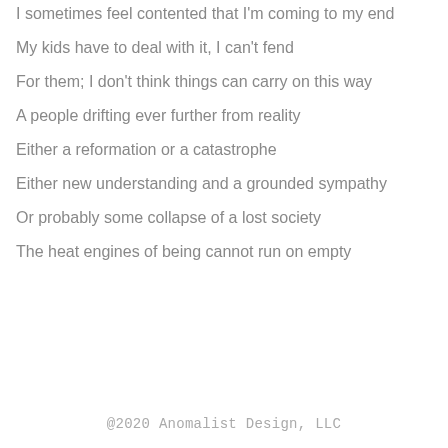I sometimes feel contented that I'm coming to my end
My kids have to deal with it, I can't fend
For them; I don't think things can carry on this way
A people drifting ever further from reality
Either a reformation or a catastrophe
Either new understanding and a grounded sympathy
Or probably some collapse of a lost society
The heat engines of being cannot run on empty
@2020 Anomalist Design, LLC